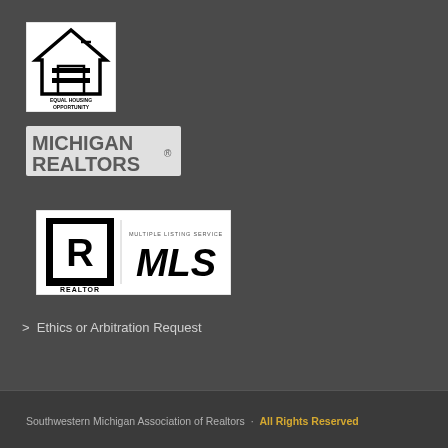[Figure (logo): Equal Housing Opportunity logo - house outline with equal sign, white on black background with text 'EQUAL HOUSING OPPORTUNITY']
[Figure (logo): Michigan REALTORS® logo - bold sans-serif text on light background]
[Figure (logo): REALTOR MLS logo - white background with stylized R in square and 'MULTIPLE LISTING SERVICE MLS' text]
> Ethics or Arbitration Request
Southwestern Michigan Association of Realtors · All Rights Reserved